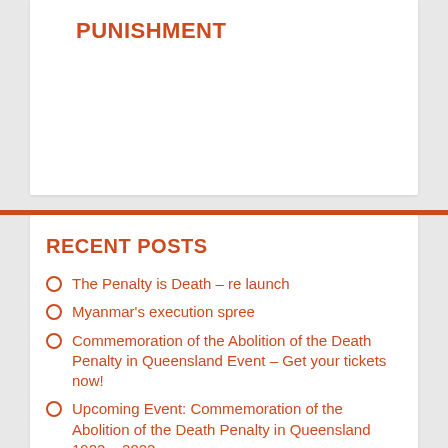PUNISHMENT
RECENT POSTS
The Penalty is Death – re launch
Myanmar's execution spree
Commemoration of the Abolition of the Death Penalty in Queensland Event – Get your tickets now!
Upcoming Event: Commemoration of the Abolition of the Death Penalty in Queensland 1922 – 2022
Singapore's Abolition Movement Grows